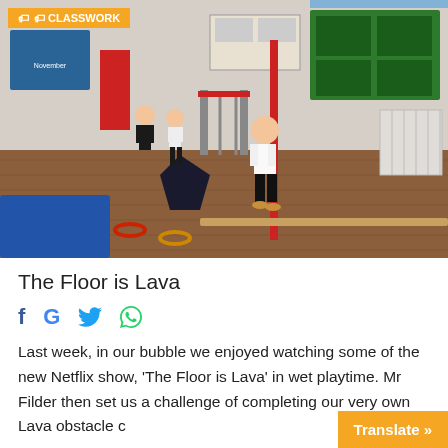[Figure (photo): Children in a school gymnasium/hall doing a floor obstacle course activity. One child in white shirt and black trousers stands in the center. Other children and a teacher visible in background. Gym equipment including mats, hoops, a balance beam visible on a parquet floor.]
The Floor is Lava
Social share icons: Facebook, Google, Twitter, WhatsApp
Last week, in our bubble we enjoyed watching some of the new Netflix show, 'The Floor is Lava' in wet playtime. Mr Filder then set us a challenge of completing our very own Lava obstacle c